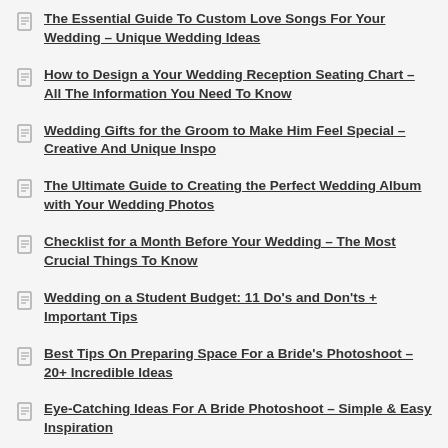The Essential Guide To Custom Love Songs For Your Wedding – Unique Wedding Ideas
How to Design a Your Wedding Reception Seating Chart – All The Information You Need To Know
Wedding Gifts for the Groom to Make Him Feel Special – Creative And Unique Inspo
The Ultimate Guide to Creating the Perfect Wedding Album with Your Wedding Photos
Checklist for a Month Before Your Wedding – The Most Crucial Things To Know
Wedding on a Student Budget: 11 Do's and Don'ts + Important Tips
Best Tips On Preparing Space For a Bride's Photoshoot – 20+ Incredible Ideas
Eye-Catching Ideas For A Bride Photoshoot – Simple & Easy Inspiration